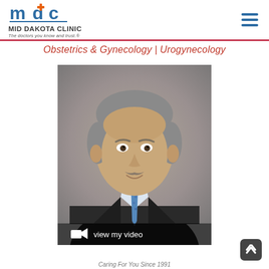MID DAKOTA CLINIC — The doctors you know and trust.
Obstetrics & Gynecology | Urogynecology
[Figure (photo): Professional headshot of a male physician in a dark suit and blue tie, smiling, with a mottled grey/beige background. A black video bar at the bottom reads 'view my video' with a video camera icon.]
Caring For You Since 1991